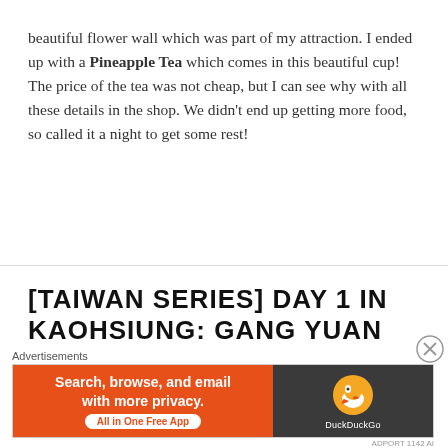beautiful flower wall which was part of my attraction. I ended up with a Pineapple Tea which comes in this beautiful cup! The price of the tea was not cheap, but I can see why with all these details in the shop. We didn't end up getting more food, so called it a night to get some rest!
[TAIWAN SERIES] DAY 1 IN KAOHSIUNG: GANG YUAN BEEF
[Figure (other): DuckDuckGo advertisement banner: orange left side with text 'Search, browse, and email with more privacy. All in One Free App' and dark right side with DuckDuckGo duck logo and brand name]